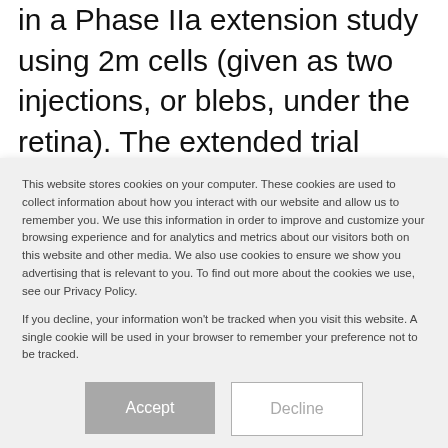in a Phase IIa extension study using 2m cells (given as two injections, or blebs, under the retina). The extended trial aims to recruit nine patients across four centres: two in the US, one in the UK and one in Spain. ReNeuron had a setback in early June 2021 as the fourth patient had a presumed infection (endophthalmitis) after a successful hRPC
This website stores cookies on your computer. These cookies are used to collect information about how you interact with our website and allow us to remember you. We use this information in order to improve and customize your browsing experience and for analytics and metrics about our visitors both on this website and other media. We also use cookies to ensure we show you advertising that is relevant to you. To find out more about the cookies we use, see our Privacy Policy.

If you decline, your information won't be tracked when you visit this website. A single cookie will be used in your browser to remember your preference not to be tracked.